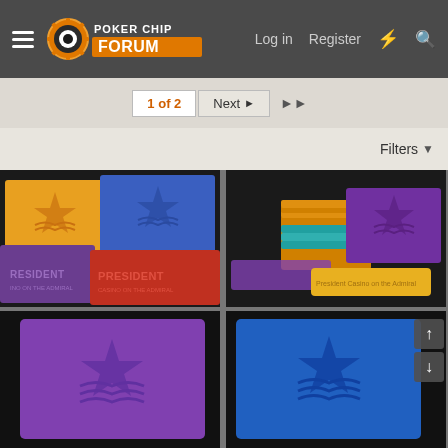Poker Chip Forum – Log in | Register
1 of 2  Next  ▶▶
Filters
[Figure (photo): Colorful rectangular poker chip plaques in yellow, blue, red, and purple with star and wave design and PRESIDENT CASINO ON THE ADMIRAL text embossed, arranged artistically on dark background.]
[Figure (photo): Purple and yellow poker chip plaques with star design, stacks of multicolored chips, and two flat yellow and blue chips on dark background.]
[Figure (photo): Single purple poker chip plaque with star and wave embossed design on dark background.]
[Figure (photo): Blue poker chip plaque with star and wave embossed design on dark background, with scroll up/down buttons visible.]